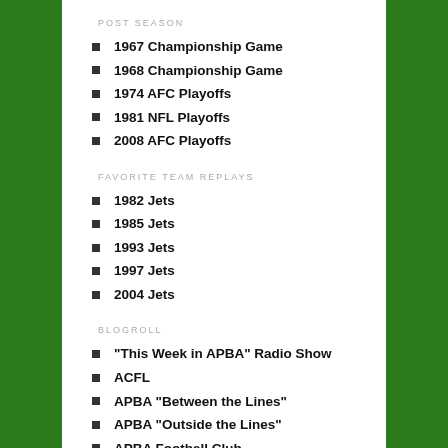POST SEASON
1967 Championship Game
1968 Championship Game
1974 AFC Playoffs
1981 NFL Playoffs
2008 AFC Playoffs
FAVORITE TEAM REPLAYS
1982 Jets
1985 Jets
1993 Jets
1997 Jets
2004 Jets
BLOGROLL
"This Week in APBA" Radio Show
ACFL
APBA "Between the Lines"
APBA "Outside the Lines"
APBA Football Club